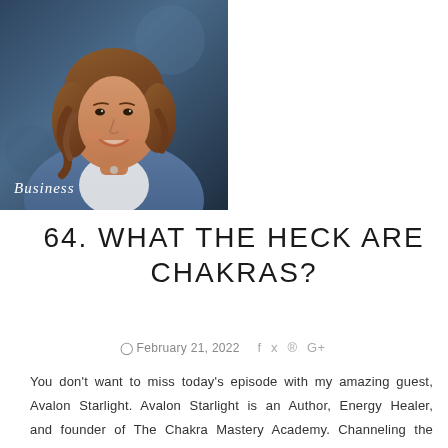[Figure (photo): Portrait photo of a smiling woman with curly brown hair, wearing a denim jacket and white shirt, with the word 'Business' overlaid at the bottom left in italic white text.]
64. WHAT THE HECK ARE CHAKRAS?
February 21, 2022
You don't want to miss today's episode with my amazing guest, Avalon Starlight. Avalon Starlight is an Author, Energy Healer, and founder of The Chakra Mastery Academy. Channeling the collective, Avalon helps lightworkers activate the codes in their chakras to live a